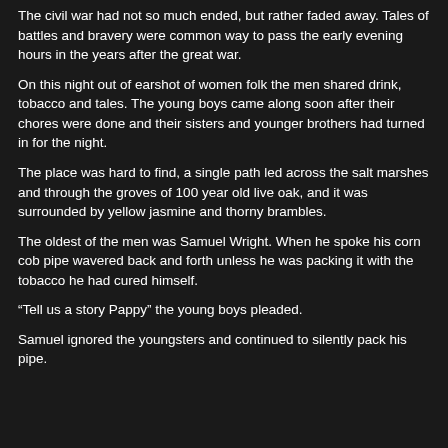The civil war had not so much ended, but rather faded away. Tales of battles and bravery were common way to pass the early evening hours in the years after the great war.
On this night out of earshot of women folk the men shared drink, tobacco and tales. The young boys came along soon after their chores were done and their sisters and younger brothers had turned in for the night.
The place was hard to find, a single path led across the salt marshes and through the groves of 100 year old live oak, and it was surrounded by yellow jasmine and thorny brambles.
The oldest of the men was Samuel Wright. When he spoke his corn cob pipe wavered back and forth unless he was packing it with the tobacco he had cured himself.
“Tell us a story Pappy” the young boys pleaded.
Samuel ignored the youngsters and continued to silently pack his pipe.